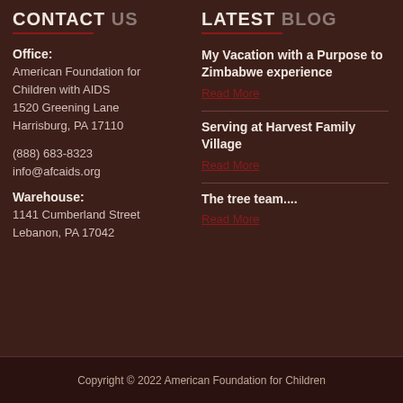CONTACT US
LATEST BLOG
Office:
American Foundation for Children with AIDS
1520 Greening Lane
Harrisburg, PA 17110

(888) 683-8323
info@afcaids.org

Warehouse:
1141 Cumberland Street
Lebanon, PA 17042
My Vacation with a Purpose to Zimbabwe experience
Read More
Serving at Harvest Family Village
Read More
The tree team....
Read More
Copyright © 2022 American Foundation for Children